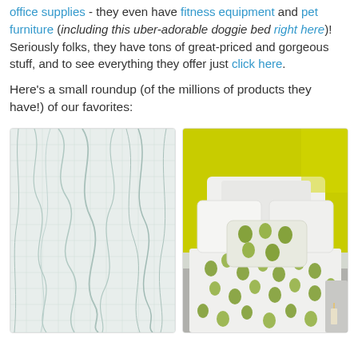office supplies - they even have fitness equipment and pet furniture (including this uber-adorable doggie bed right here)! Seriously folks, they have tons of great-priced and gorgeous stuff, and to see everything they offer just click here.
Here's a small roundup (of the millions of products they have!) of our favorites:
[Figure (photo): A light blue-grey fabric or rug with wood grain / wavy stripe pattern texture, shown in a product card with a white border.]
[Figure (photo): A bed with green and white floral/leaf patterned bedding and pillows against a bright yellow wall, shown in a product card with a white border.]